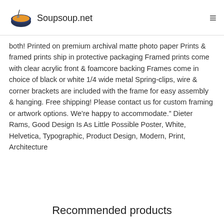Soupsoup.net
both! Printed on premium archival matte photo paper Prints & framed prints ship in protective packaging Framed prints come with clear acrylic front & foamcore backing Frames come in choice of black or white 1/4 wide metal Spring-clips, wire & corner brackets are included with the frame for easy assembly & hanging. Free shipping! Please contact us for custom framing or artwork options. We're happy to accommodate." Dieter Rams, Good Design Is As Little Possible Poster, White, Helvetica, Typographic, Product Design, Modern, Print, Architecture
Recommended products